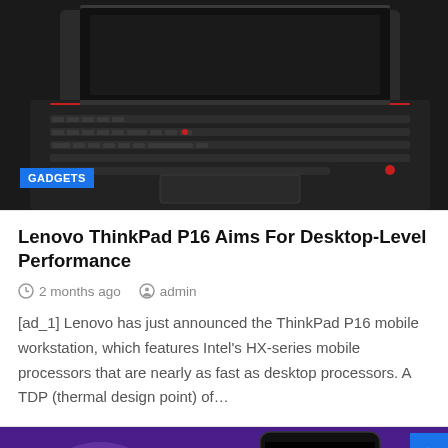[Figure (photo): Dark Lenovo ThinkPad P16 laptop in kickstand/tent mode showing keyboard and back panel, viewed from above at angle. Dark background.]
GADGETS
Lenovo ThinkPad P16 Aims For Desktop-Level Performance
2 months ago   admin
[ad_1] Lenovo has just announced the ThinkPad P16 mobile workstation, which features Intel's HX-series mobile processors that are nearly as fast as desktop processors. A TDP (thermal design point) of…
[Figure (photo): iPhone showing a messaging app with 'Yo greenie' green bubble text message, purple background with animated characters. Large stylized 'OH HELLO' text in yellow/green at bottom.]